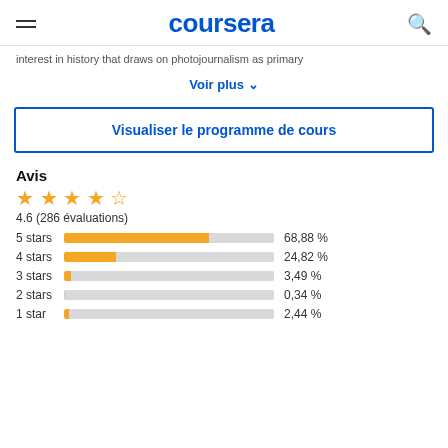coursera
interest in history that draws on photojournalism as primary
Voir plus ▾
Visualiser le programme de cours
Avis
[Figure (bar-chart): Rating distribution]